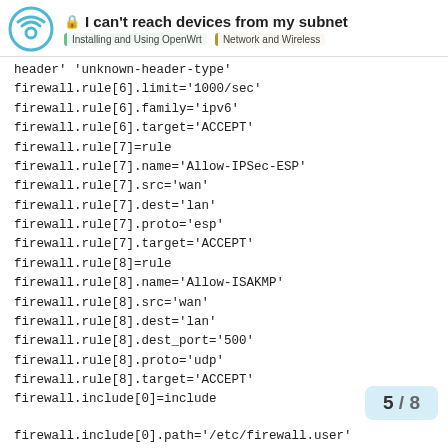I can't reach devices from my subnet | Installing and Using OpenWrt | Network and Wireless
header' 'unknown-header-type'
firewall.rule[6].limit='1000/sec'
firewall.rule[6].family='ipv6'
firewall.rule[6].target='ACCEPT'
firewall.rule[7]=rule
firewall.rule[7].name='Allow-IPSec-ESP'
firewall.rule[7].src='wan'
firewall.rule[7].dest='lan'
firewall.rule[7].proto='esp'
firewall.rule[7].target='ACCEPT'
firewall.rule[8]=rule
firewall.rule[8].name='Allow-ISAKMP'
firewall.rule[8].src='wan'
firewall.rule[8].dest='lan'
firewall.rule[8].dest_port='500'
firewall.rule[8].proto='udp'
firewall.rule[8].target='ACCEPT'
firewall.include[0]=include
firewall.include[0].path='/etc/firewall.user'